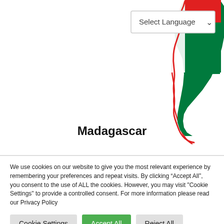[Figure (map): Outline map of Madagascar showing the island's shape with a red outline on the left/west side and red+green flag colors on the right portion. A language selector dropdown labeled 'Select Language' with a chevron appears in the top right.]
Madagascar
We use cookies on our website to give you the most relevant experience by remembering your preferences and repeat visits. By clicking “Accept All”, you consent to the use of ALL the cookies. However, you may visit "Cookie Settings" to provide a controlled consent. For more information please read our Privacy Policy